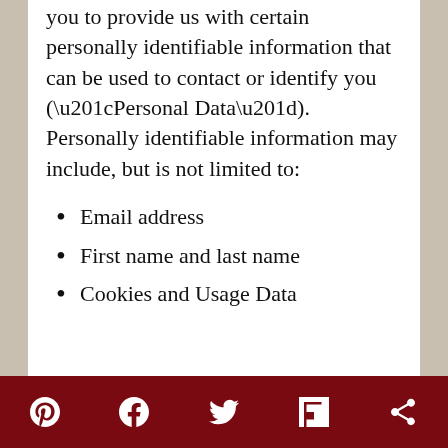While using our Service, we may ask you to provide us with certain personally identifiable information that can be used to contact or identify you (“Personal Data”). Personally identifiable information may include, but is not limited to:
Email address
First name and last name
Cookies and Usage Data
Privacy & Cookies: This site uses cookies. By continuing to use this website, you agree to their use.
To find out more, including how to control cookies, see here: Cookie Policy
Social share icons: Pinterest, Facebook, Twitter, Flipboard, More